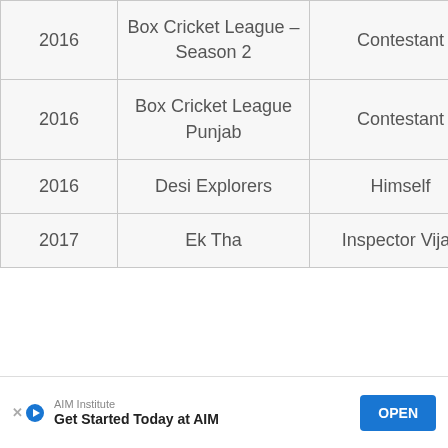| Year | Show/Film | Role |
| --- | --- | --- |
| 2016 | Box Cricket League – Season 2 | Contestant |
| 2016 | Box Cricket League Punjab | Contestant |
| 2016 | Desi Explorers | Himself |
| 2017 | Ek Tha | Inspector Vijay |